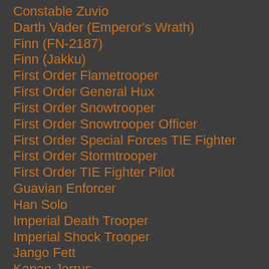Constable Zuvio
Darth Vader (Emperor's Wrath)
Finn (FN-2187)
Finn (Jakku)
First Order Flametrooper
First Order General Hux
First Order Snowtrooper
First Order Snowtrooper Officer
First Order Special Forces TIE Fighter
First Order Stormtrooper
First Order TIE Fighter Pilot
Guavian Enforcer
Han Solo
Imperial Death Trooper
Imperial Shock Trooper
Jango Fett
Kanan Jarrus
Kylo Ren
Kylo Ren (SDCC 2016)
Kylo Ren (Starkiller Base)
Luke Skywalker
Phase 1 Clone Trooper Commander, Phase II Clone